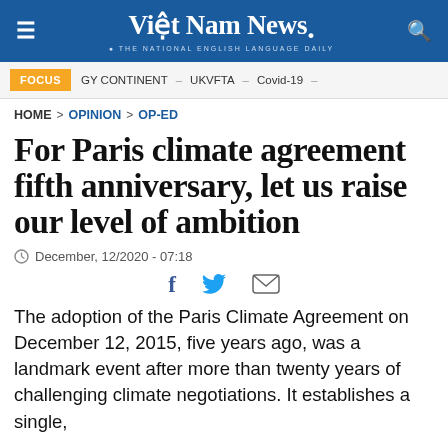Việt Nam News. THE NATIONAL ENGLISH LANGUAGE DAILY
FOCUS  GY CONTINENT – UKVFTA – Covid-19 –
HOME > OPINION > OP-ED
For Paris climate agreement fifth anniversary, let us raise our level of ambition
December, 12/2020 - 07:18
The adoption of the Paris Climate Agreement on December 12, 2015, five years ago, was a landmark event after more than twenty years of challenging climate negotiations. It establishes a single,